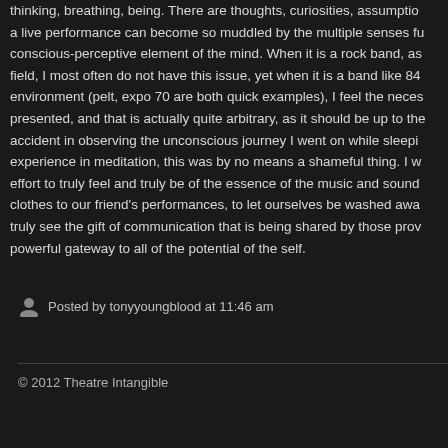thinking, breathing, being. There are thoughts, curiosities, assumptions a live performance can become so muddled by the multiple senses fu conscious-perceptive element of the mind. When it is a rock band, as field, I most often do not have this issue, yet when it is a band like 84 environment (pelt, expo 70 are both quick examples), I feel the neces presented, and that is actually quite arbitrary, as it should be up to the accident in observing the unconscious journey I went on while sleepi experience in meditation, this was by no means a shameful thing. I w effort to truly feel and truly be of the essence of the music and sound clothes to our friend's performances, to let ourselves be washed awa truly see the gift of communication that is being shared by those prov powerful gateway to all of the potential of the self.
Posted by tonyyoungblood at 11:46 am
© 2012 Theatre Intangible